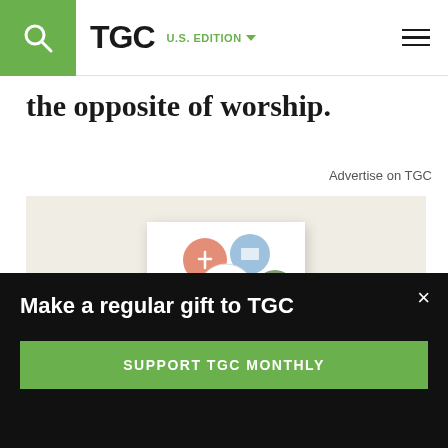TGC U.S. EDITION
the opposite of worship.
Advertise on TGC
[Figure (photo): Advertisement showing the book 'Remember Your Joy' by Courtney Doctor & Melissa Kruger, with circular illustrated icons on the cover, on a beige background.]
Make a regular gift to TGC
SUPPORT TGC MONTHLY